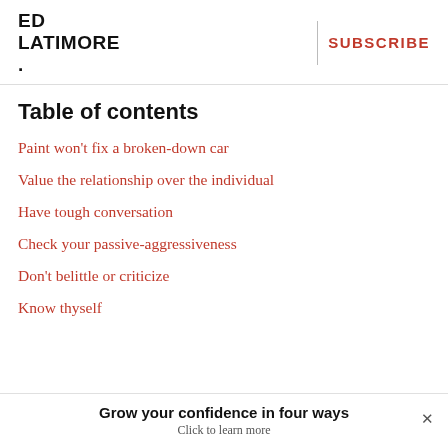ED LATIMORE. | SUBSCRIBE
Table of contents
Paint won't fix a broken-down car
Value the relationship over the individual
Have tough conversation
Check your passive-aggressiveness
Don't belittle or criticize
Know thyself
Grow your confidence in four ways
Click to learn more